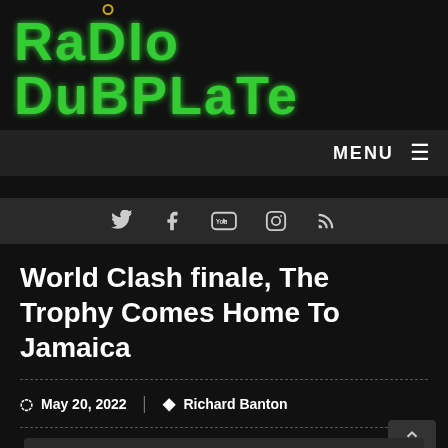RaDIo DuBPLaTe
MENU
[Figure (other): Social media icons row: Twitter, Facebook, YouTube, Instagram, RSS]
World Clash finale, The Trophy Comes Home To Jamaica
May 20, 2022   Richard Banton
Like a storybook ending, the World Clash trophy returned to Jamaica, the birthplace of sound clash